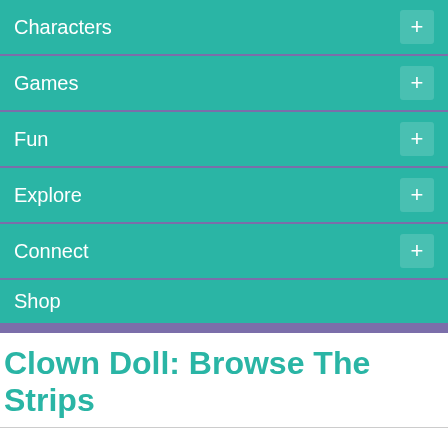Characters +
Games +
Fun +
Explore +
Connect +
Shop
Clown Doll: Browse The Strips
← Prev   Today's Strip   Next →